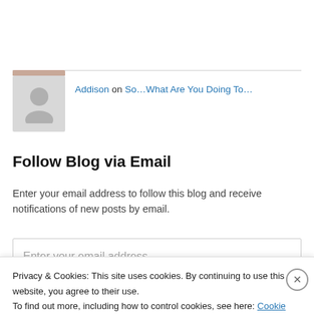[Figure (photo): Partially visible avatar photo at the very top of the page (cropped, showing a person's face).]
Addison on So…What Are You Doing To…
Follow Blog via Email
Enter your email address to follow this blog and receive notifications of new posts by email.
Enter your email address
Follow
Privacy & Cookies: This site uses cookies. By continuing to use this website, you agree to their use.
To find out more, including how to control cookies, see here: Cookie Policy
Close and accept